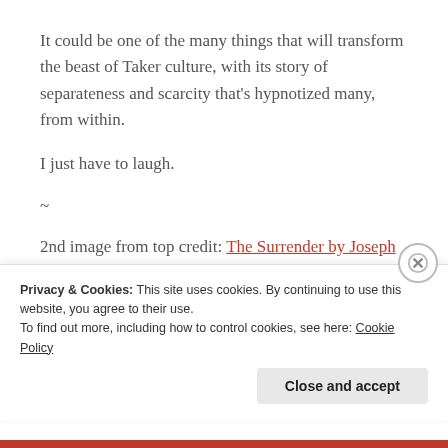It could be one of the many things that will transform the beast of Taker culture, with its story of separateness and scarcity that’s hypnotized many, from within.
I just have to laugh.
~
2nd image from top credit: The Surrender by Joseph Griffith
Privacy & Cookies: This site uses cookies. By continuing to use this website, you agree to their use.
To find out more, including how to control cookies, see here: Cookie Policy
Close and accept